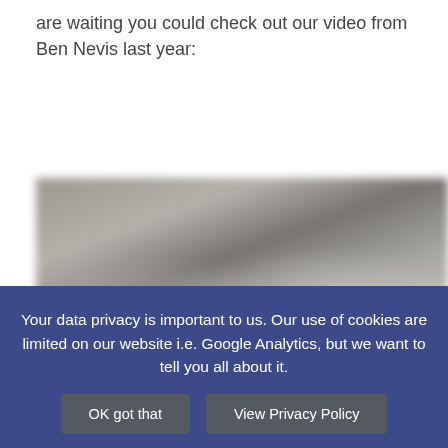are waiting you could check out our video from Ben Nevis last year:
[Figure (photo): Blurred outdoor/landscape photo, likely from Ben Nevis mountain, showing rocky terrain with muted grey-brown tones and a hint of red in the lower right corner.]
Your data privacy is important to us. Our use of cookies are limited on our website i.e. Google Analytics, but we want to tell you all about it.
OK got that
View Privacy Policy